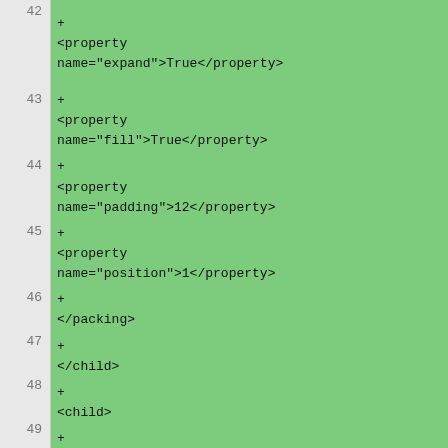[Figure (screenshot): Code diff view showing XML/Glade UI file lines 42-55, with green highlighted lines for additions (prefixed with +) and a red highlighted line for a deletion (prefixed with -). Line numbers are shown in a gray gutter on the left. Content includes XML property and child elements for GTK widget definitions.]